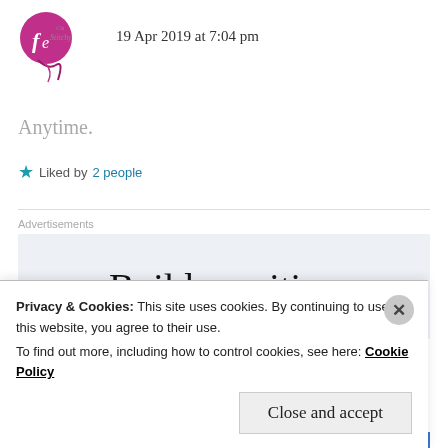[Figure (logo): Circular pink/purple blog logo with stylized cursive text]
19 Apr 2019 at 7:04 pm
Anytime.
★ Liked by 2 people
Advertisements
Build a writing
Privacy & Cookies: This site uses cookies. By continuing to use this website, you agree to their use.
To find out more, including how to control cookies, see here: Cookie Policy
Close and accept